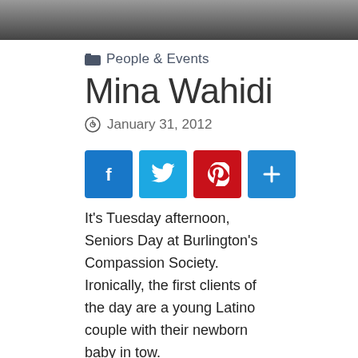[Figure (photo): Photo of people, cropped — only bottom portion visible showing legs and seated figures]
People & Events
Mina Wahidi
January 31, 2012
[Figure (infographic): Social share buttons: Facebook, Twitter, Pinterest, Share/Add]
It's Tuesday afternoon, Seniors Day at Burlington's Compassion Society. Ironically, the first clients of the day are a young Latino couple with their newborn baby in tow.
As they peruse the racks of donated clothes, volunteers begin organizing the food selection. On this particular day, 33 "Jet-N-Ready" …